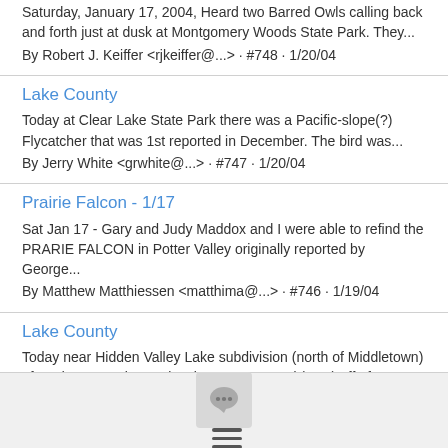Saturday, January 17, 2004, Heard two Barred Owls calling back and forth just at dusk at Montgomery Woods State Park. They...
By Robert J. Keiffer <rjkeiffer@...> · #748 · 1/20/04
Lake County
Today at Clear Lake State Park there was a Pacific-slope(?) Flycatcher that was 1st reported in December. The bird was...
By Jerry White <grwhite@...> · #747 · 1/20/04
Prairie Falcon - 1/17
Sat Jan 17 - Gary and Judy Maddox and I were able to refind the PRARIE FALCON in Potter Valley originally reported by George...
By Matthew Matthiessen <matthima@...> · #746 · 1/19/04
Lake County
Today near Hidden Valley Lake subdivision (north of Middletown) I found a Burrowing Owl. Take Grange Road (east) off of...
By Jerry White <grwhite@...> · #745 · 1/17/04
[Figure (other): Footer bar with a chat/comment icon button and a hamburger menu icon]